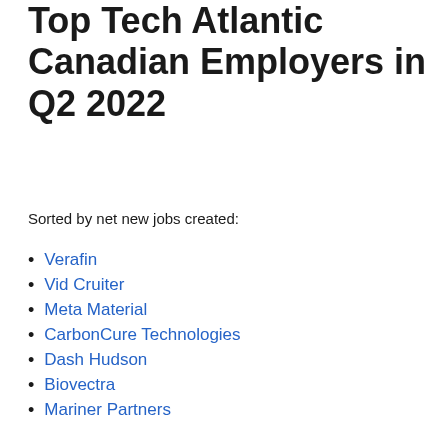Top Tech Atlantic Canadian Employers in Q2 2022
Sorted by net new jobs created:
Verafin
Vid Cruiter
Meta Material
CarbonCure Technologies
Dash Hudson
Biovectra
Mariner Partners
SmartSkin
iWave
Skin Fix